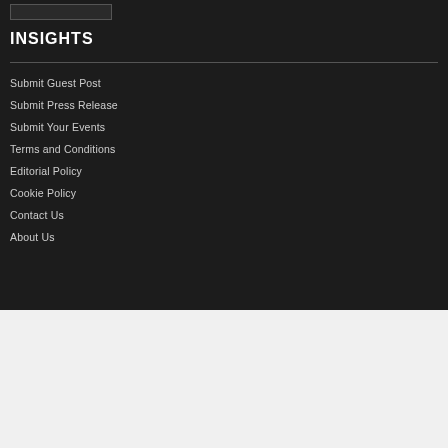[Figure (logo): Small logo/image box in top-left corner]
INSIGHTS
Submit Guest Post
Submit Press Release
Submit Your Events
Terms and Conditions
Editorial Policy
Cookie Policy
Contact Us
About Us